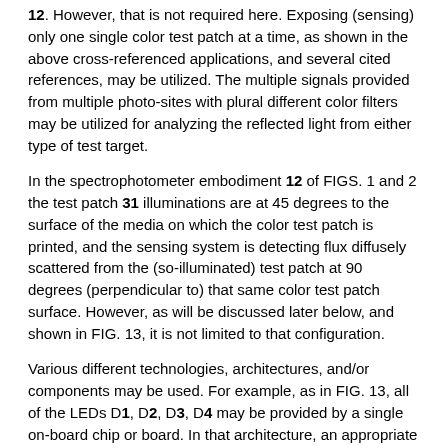12. However, that is not required here. Exposing (sensing) only one single color test patch at a time, as shown in the above cross-referenced applications, and several cited references, may be utilized. The multiple signals provided from multiple photo-sites with plural different color filters may be utilized for analyzing the reflected light from either type of test target.
In the spectrophotometer embodiment 12 of FIGS. 1 and 2 the test patch 31 illuminations are at 45 degrees to the surface of the media on which the color test patch is printed, and the sensing system is detecting flux diffusely scattered from the (so-illuminated) test patch at 90 degrees (perpendicular to) that same color test patch surface. However, as will be discussed later below, and shown in FIG. 13, it is not limited to that configuration.
Various different technologies, architectures, and/or components may be used. For example, as in FIG. 13, all of the LEDs D1, D2, D3, D4 may be provided by a single on-board chip or board. In that architecture, an appropriate selection of LED die with different wavelengths covering the visible spectrum may be formed in a circular pattern on a PWB.